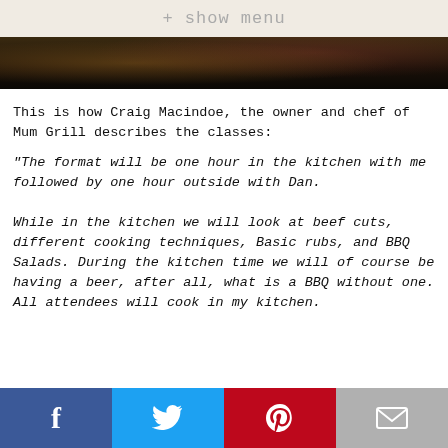+ show menu
[Figure (photo): Dark photo strip, appears to be a kitchen or BBQ scene with warm/orange tones]
This is how Craig Macindoe, the owner and chef of Mum Grill describes the classes:
"The format will be one hour in the kitchen with me followed by one hour outside with Dan.

While in the kitchen we will look at beef cuts, different cooking techniques, Basic rubs, and BBQ Salads. During the kitchen time we will of course be having a beer, after all, what is a BBQ without one. All attendees will cook in my kitchen.
f  [twitter]  [pinterest]  [email]